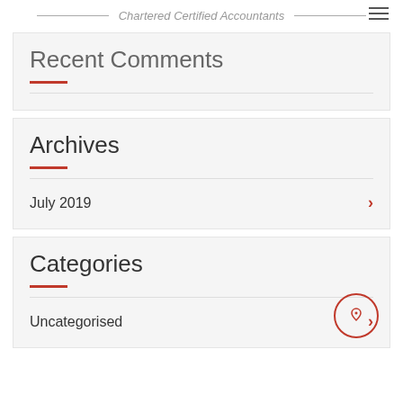Chartered Certified Accountants
Recent Comments
Archives
July 2019
Categories
Uncategorised